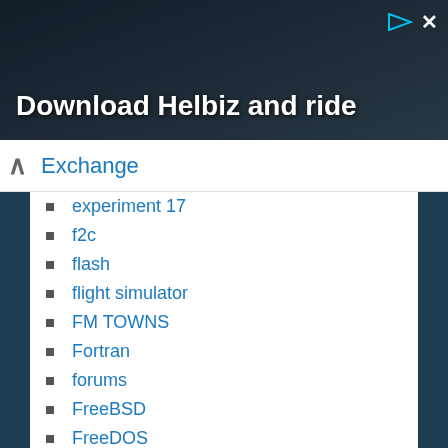[Figure (photo): Advertisement banner with dark background showing a person with camera equipment and text 'Download Helbiz and ride']
Exchange
experiment 17
f2c
flash
flight simulator
FM TOWNS
Fortran
forums
FreeBSD
FreeDOS
Frontier
games
gcc
GDB
giano
GNS3
gnu
go32